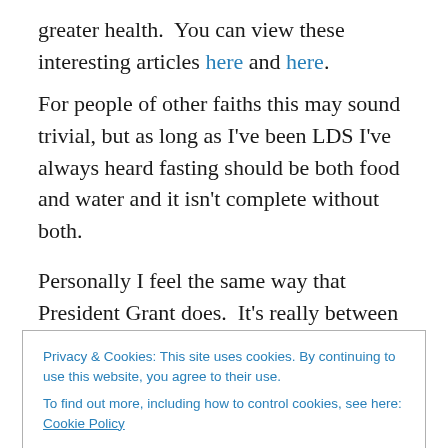greater health.  You can view these interesting articles here and here.
For people of other faiths this may sound trivial, but as long as I've been LDS I've always heard fasting should be both food and water and it isn't complete without both.
Personally I feel the same way that President Grant does.  It's really between us and God and if we feel good about our fast we shouldn't worry.  I feel that our fast shouldn't be merely for medical purposes but for coming closer to
Privacy & Cookies: This site uses cookies. By continuing to use this website, you agree to their use. To find out more, including how to control cookies, see here: Cookie Policy
Close and accept
What are your thoughts on the scientific studies?